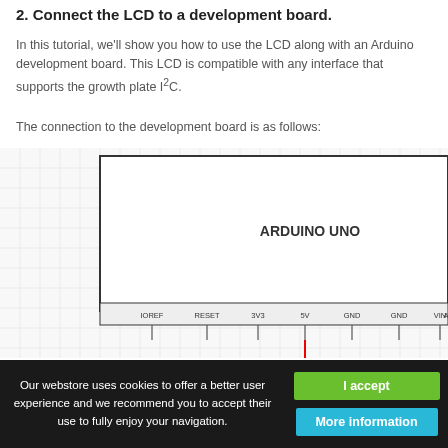2. Connect the LCD to a development board.
In this tutorial, we'll show you how to use the LCD along with an Arduino development board. This LCD is compatible with any interface that supports the growth plate I²C.
The connection to the development board is as follows:
[Figure (schematic): Partial view of an Arduino UNO board schematic/diagram showing pin labels: IOREF, RESET, 3V3, 5V, GND, GND, VIN, A0, A1, A2 along the bottom edge. A red wire is connected to the 5V pin.]
Our webstore uses cookies to offer a better user experience and we recommend you to accept their use to fully enjoy your navigation.